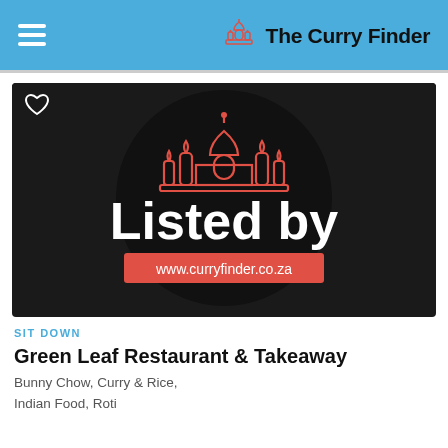The Curry Finder
[Figure (logo): The Curry Finder website listing badge: a black rectangle with a dark circle containing a red Taj Mahal-style building outline, white bold text 'Listed by', and a red banner with white text 'www.curryfinder.co.za'. A heart/favorite icon is in the top-left corner.]
SIT DOWN
Green Leaf Restaurant & Takeaway
Bunny Chow, Curry & Rice, Indian Food, Roti